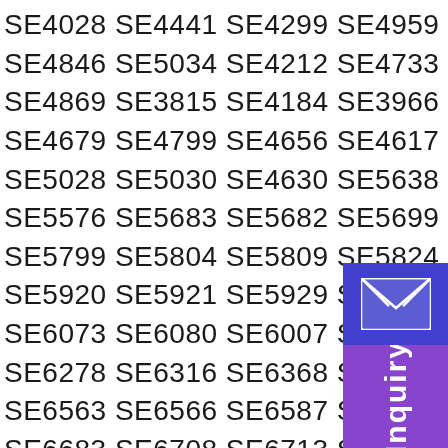SE4028 SE4441 SE4299 SE4959 SE4953 SE4213 SE4960 SE4102 SE4252 SE4846 SE5034 SE4212 SE4733 SE3814 SE3753 SE4131 SE3768 SE4762 SE4869 SE3815 SE4184 SE3966 SE4501 SE4403 SE4695 SE4166 SE4690 SE4679 SE4799 SE4656 SE4617 SE4836 SE4729 SE4785 SE5429 SE5200 SE5028 SE5030 SE4630 SE5638 SE5637 SE5626 SE5557 SE5575 SE5594 SE5576 SE5683 SE5682 SE5699 SE5760 SE5779 SE5719 SE5782 SE5793 SE5799 SE5804 SE5809 SE5824 SE5831 SE5846 SE5850 SE5853 SE5912 SE5920 SE5921 SE5929 SE5943 SE6040 SE6041 SE6042 SE6048 SE6072 SE6073 SE6080 SE6007 SE6031 SE6154 SE6178 SE6205 SE6219 SE6236 SE6278 SE6316 SE6368 SE6377 SE6395 SE6396 SE6403 SE6478 SE6544 SE6563 SE6566 SE6587 SE6602 SE6605 SE6608 SE6620 SE6622 SE6653 SE6683 SE6708 SE6713 SE6752 SE6804 SE6809 SE6836 SE6850 SE6853 SE6858 SE6872 SE6879 SE6894 SE6901 SE6998 SE7030 SE7061 SE7089 SE7093 SE7107 SE7118 SE7132 SE7140 SE7184 SE7209 SE7233 SE7245 SE7281 SE7295 SE7302 SE7303 SE7316 SE7324 SE7325 SE7369 SE7370 SE7374 SE7395 SE7405 SE7427 SE7444 SE7478 SE7559 SE7594 SE7598 SE7614 SE7636 SE7581 SE7667 SE7668 SE7706 SE7731 SE7739 SE7741 SE7766 SE7767 SE7768 SE7797 SE7800
[Figure (illustration): Bottom-right corner overlay: blue rectangle with white envelope/mail icon on top, purple rectangle with vertical 'Inquiry' text below]